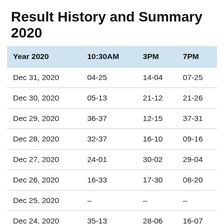Result History and Summary 2020
| Year 2020 | 10:30AM | 3PM | 7PM |
| --- | --- | --- | --- |
| Dec 31, 2020 | 04-25 | 14-04 | 07-25 |
| Dec 30, 2020 | 05-13 | 21-12 | 21-26 |
| Dec 29, 2020 | 36-37 | 12-15 | 37-31 |
| Dec 28, 2020 | 32-37 | 16-10 | 09-16 |
| Dec 27, 2020 | 24-01 | 30-02 | 29-04 |
| Dec 26, 2020 | 16-33 | 17-30 | 08-20 |
| Dec 25, 2020 | – | – | – |
| Dec 24, 2020 | 35-13 | 28-06 | 16-07 |